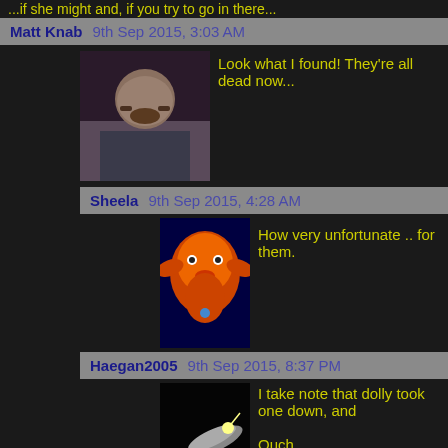...if she might and, if you try to go in there...
Matt Knab   9th Sep 2015, 3:03 AM
Look what I found! They're all dead now...
Sheela   9th Sep 2015, 4:28 AM
How very unfortunate .. for them.
Haegan2005   9th Sep 2015, 8:37 PM
I take note that dolly took one down, and
Ouch.
Sheela   10th Sep 2015, 7:24 PM
Dolly shot someone too.
I think out of the five, Dolly took out two, a group.
T1_G3P3501   9th Sep 2015, 5:26 AM